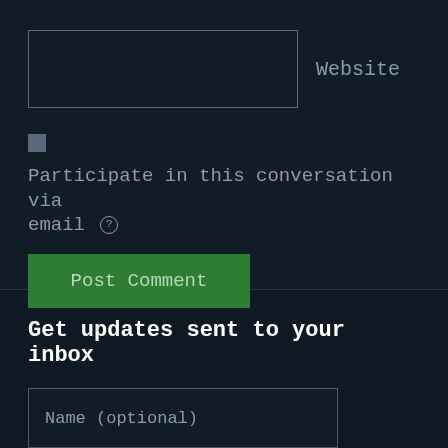Website
Participate in this conversation via email ?
Post Comment
Get updates sent to your inbox
Name (optional)
Email
Subscribe